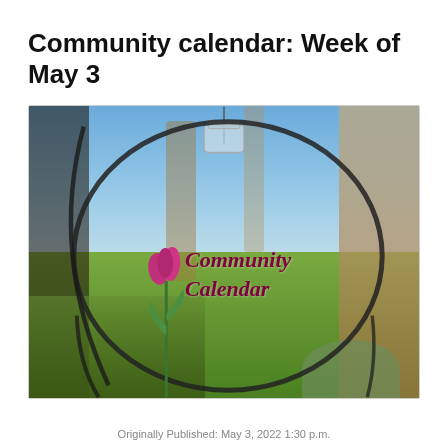Community calendar: Week of May 3
[Figure (photo): Outdoor garden photo showing a pink tulip with a decorative metal hoop/arch, a hanging glass jar, and text overlay reading 'Community Calendar' in dark red italic serif font. Background shows blue sky, grass, and stone wall.]
Originally Published: May 3, 2022 1:30 p.m.